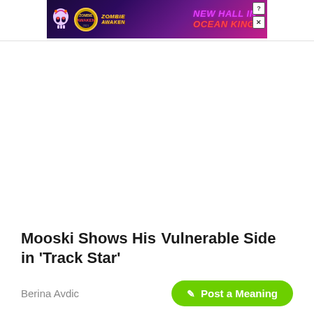[Figure (screenshot): Advertisement banner for 'Zombie Awaken' game promoting 'New Hall in Ocean King 2' with colorful purple and pink background, skull character, game logos, and close/help buttons.]
Mooski Shows His Vulnerable Side in 'Track Star'
Berina Avdic
✎ Post a Meaning